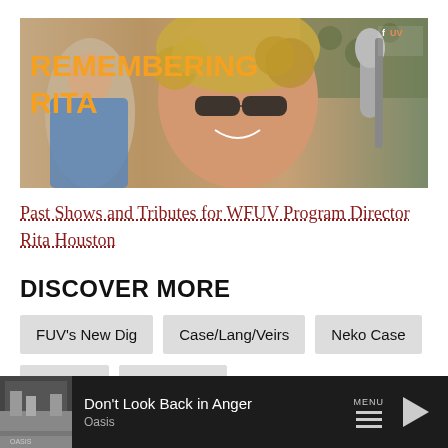[Figure (photo): Banner image showing 'REMEMBERING RITA' text in orange/yellow on left, with a smiling woman with curly hair and glasses in center, microphone on right, and another woman on far left]
Past Shows and Tributes for WFUV Program Director Rita Houston
DISCOVER MORE
FUV's New Dig
Case/Lang/Veirs
Neko Case
k.d. lang
Laura Veirs
Don't Look Back in Anger  Oasis  MENU